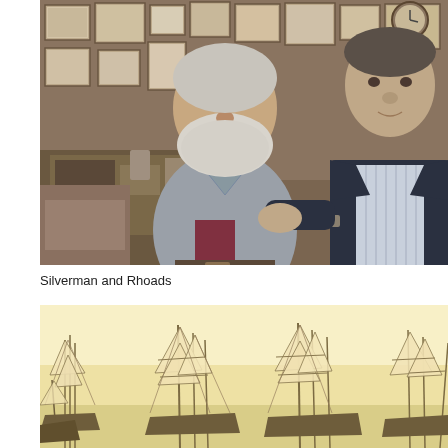[Figure (photo): Two men standing together indoors in what appears to be an art studio or antique shop. The man on the left has a white beard and is wearing a gray open-collar shirt. The man on the right is wearing a dark blazer and striped shirt. The background shows framed pictures on a brick wall and a cluttered desk.]
Silverman and Rhoads
[Figure (photo): Partial view of a maritime painting showing tall sailing ships with masts and rigging against a pale yellow sky, partially cropped at the bottom of the page.]